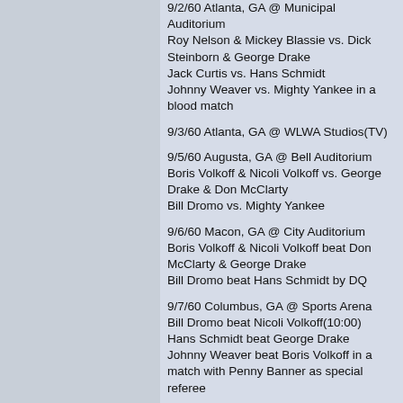9/2/60 Atlanta, GA @ Municipal Auditorium
Roy Nelson & Mickey Blassie vs. Dick Steinborn & George Drake
Jack Curtis vs. Hans Schmidt
Johnny Weaver vs. Mighty Yankee in a blood match
9/3/60 Atlanta, GA @ WLWA Studios(TV)
9/5/60 Augusta, GA @ Bell Auditorium
Boris Volkoff & Nicoli Volkoff vs. George Drake & Don McClarty
Bill Dromo vs. Mighty Yankee
9/6/60 Macon, GA @ City Auditorium
Boris Volkoff & Nicoli Volkoff beat Don McClarty & George Drake
Bill Dromo beat Hans Schmidt by DQ
9/7/60 Columbus, GA @ Sports Arena
Bill Dromo beat Nicoli Volkoff(10:00)
Hans Schmidt beat George Drake
Johnny Weaver beat Boris Volkoff in a match with Penny Banner as special referee
9/7/60 Rome, GA @ Memorial Gym
Mighty Yankee vs. Don McIntyre in a 2 of 3 falls match
Roy Nelson vs. Dick Steinborn in a 2 of 3 falls match
9/9/60 Atlanta, GA @ Municipal Auditorium
Dick Steinborn & Bill Dromo beat Roy Nelson & Red Dugan
Hans Schmidt beat George Drake
Mighty Yankee beat Johnny Weaver in a match with Penny Banner as special referee